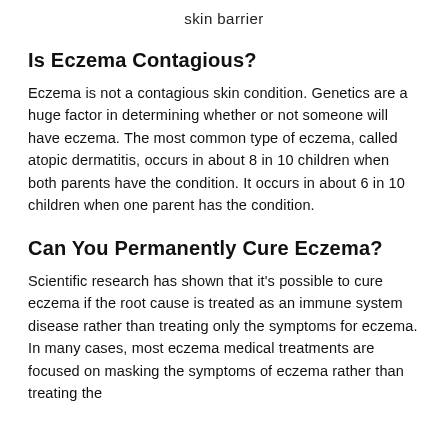skin barrier
Is Eczema Contagious?
Eczema is not a contagious skin condition. Genetics are a huge factor in determining whether or not someone will have eczema. The most common type of eczema, called atopic dermatitis, occurs in about 8 in 10 children when both parents have the condition. It occurs in about 6 in 10 children when one parent has the condition.
Can You Permanently Cure Eczema?
Scientific research has shown that it's possible to cure eczema if the root cause is treated as an immune system disease rather than treating only the symptoms for eczema. In many cases, most eczema medical treatments are focused on masking the symptoms of eczema rather than treating the